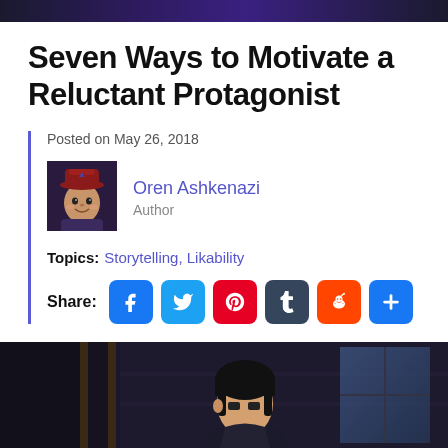Seven Ways to Motivate a Reluctant Protagonist
Posted on May 26, 2018
[Figure (photo): Author avatar photo of Oren Ashkenazi wearing a red hat, illustrated style]
Oren Ashkenazi
Author
Topics: Storytelling, Likability
Share: [Facebook] [Twitter] [Pinterest] [Tumblr] [Reddit] [More]
[Figure (illustration): Animated-style illustration of a dark-haired character, bottom portion of page]